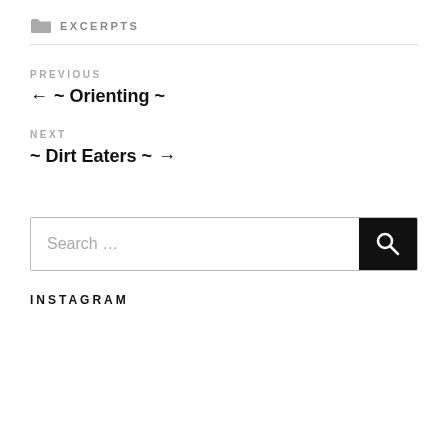EXCERPTS
PREVIOUS
← ~ Orienting ~
NEXT
~ Dirt Eaters ~ →
Search ...
INSTAGRAM